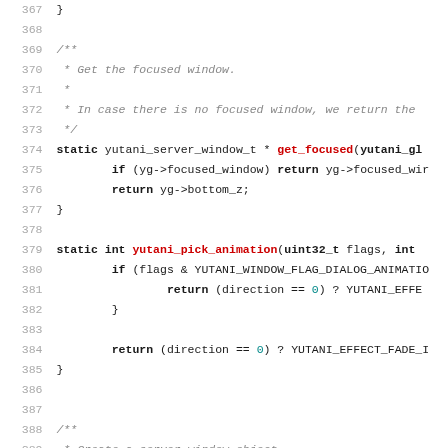Source code listing, lines 367-389, C code for yutani server window functions